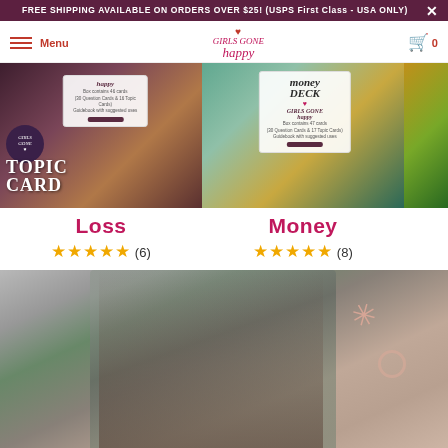FREE SHIPPING AVAILABLE ON ORDERS OVER $25! (USPS First Class - USA ONLY)
Menu | Girls Gone Happy | Cart 0
[Figure (photo): Product card image for Loss deck - dark purple/brown tones with Topic Card text visible]
[Figure (photo): Product card image for Money deck - teal/gold tones with Money Deck label visible]
Loss
★★★★★ (6)
Money
★★★★★ (8)
[Figure (photo): Woman smiling with silver glitter background, decorative asterisk and circle elements]